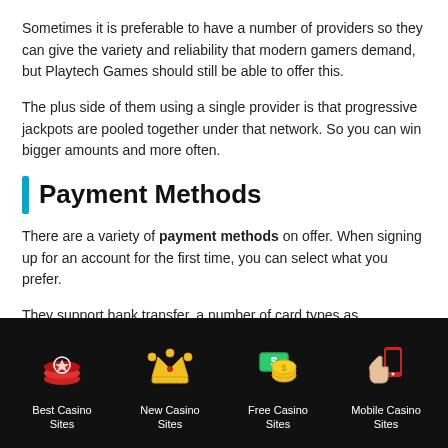Sometimes it is preferable to have a number of providers so they can give the variety and reliability that modern gamers demand, but Playtech Games should still be able to offer this.
The plus side of them using a single provider is that progressive jackpots are pooled together under that network. So you can win bigger amounts and more often.
Payment Methods
There are a variety of payment methods on offer. When signing up for an account for the first time, you can select what you prefer.
They support bank transfer, a number of card types as
[Figure (infographic): Dark footer navigation bar with four casino category icons: Best Casino Sites (poker chips), New Casino Sites (crown), Free Casino Sites (money/coins), Mobile Casino Sites (phone)]